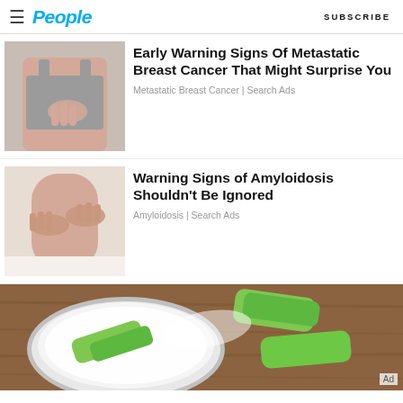People | SUBSCRIBE
Early Warning Signs Of Metastatic Breast Cancer That Might Surprise You
Metastatic Breast Cancer | Search Ads
Warning Signs of Amyloidosis Shouldn't Be Ignored
Amyloidosis | Search Ads
[Figure (photo): Photo of aloe vera pieces and cream in a tin container, green aloe on wooden surface]
Ad